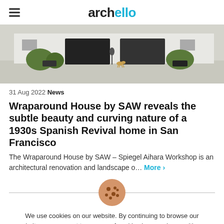archello
[Figure (photo): Exterior photo of a white Spanish Revival house with dark garage doors, manicured shrubs, and a person walking a dog on the driveway.]
31 Aug 2022 News
Wraparound House by SAW reveals the subtle beauty and curving nature of a 1930s Spanish Revival home in San Francisco
The Wraparound House by SAW – Spiegel Aihara Workshop is an architectural renovation and landscape o... More ›
We use cookies on our website. By continuing to browse our website, you consent to our use of cookies in accordance with our cookie policy.
I Accept